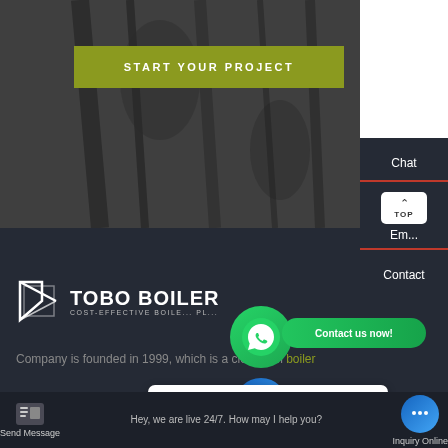[Figure (screenshot): Hero section with dark textured background (boiler/industrial imagery)]
START YOUR PROJECT
[Figure (screenshot): Tobo Boiler logo with icon and tagline: COST-EFFECTIVE BOILER SUPPLIER]
Company is founded in 1999, which is a clean fuel boiler
Chat
Em...
Contact
[Figure (logo): WhatsApp green circular icon with phone handset]
Contact us now!
[Figure (illustration): Blue messenger/chat icon circle]
Hey, we are live 24/7. How may I help you?
Send Message
Inquiry Online